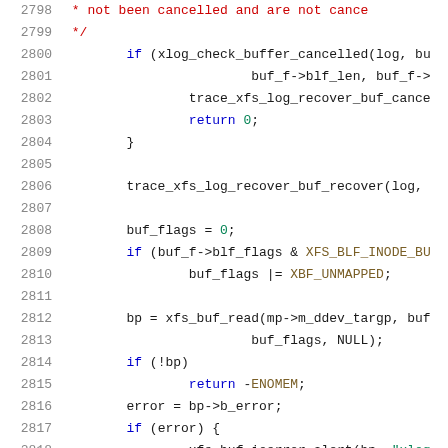[Figure (screenshot): Source code listing in a code editor showing C kernel code (XFS log recovery buffer handling) with line numbers 2798-2819. Syntax highlighting: red for comments, blue for keywords, green for numeric literals and strings, dark for identifiers.]